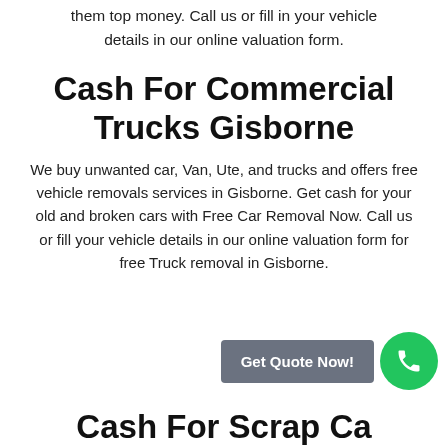them top money. Call us or fill in your vehicle details in our online valuation form.
Cash For Commercial Trucks Gisborne
We buy unwanted car, Van, Ute, and trucks and offers free vehicle removals services in Gisborne. Get cash for your old and broken cars with Free Car Removal Now. Call us or fill your vehicle details in our online valuation form for free Truck removal in Gisborne.
Get Quote Now!
Cash For Scrap Ca